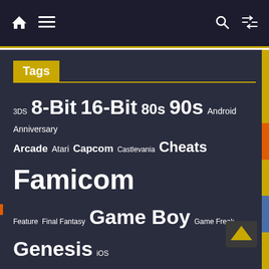Home | Menu | Search | Shuffle
Tags
3DS 8-Bit 16-Bit 80s 90s Android Anniversary Arcade Atari Capcom Castlevania Cheats Famicom Feature Final Fantasy Game Boy Game Freak Genesis iOS Japan JRPG Kickstarter Konami Mega-CD Mega Drive Mega Man NES News Nintendo Pikachu PlayStation Pokémon PS4 Retro Satoru Iwata SEGA Shigeru Miyamoto SNES Sonic Sonic Team Super Famicom Super Mario Super Mario Bros. Super Nintendo Zelda